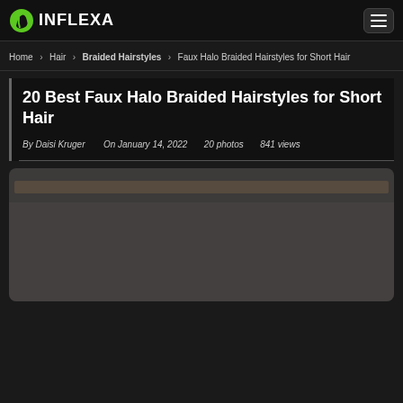INFLEXA
Home › Hair › Braided Hairstyles › Faux Halo Braided Hairstyles for Short Hair
20 Best Faux Halo Braided Hairstyles for Short Hair
By Daisi Kruger    On January 14, 2022    20 photos    841 views
[Figure (photo): Photo showing a faux halo braided hairstyle for short hair — partially visible, dark background with a thin strip of image at the top]